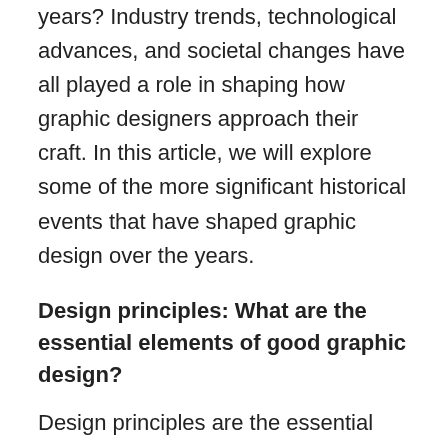years? Industry trends, technological advances, and societal changes have all played a role in shaping how graphic designers approach their craft. In this article, we will explore some of the more significant historical events that have shaped graphic design over the years.
Design principles: What are the essential elements of good graphic design?
Design principles are the essential elements of good graphic design. They include creating a coherent and effective visual language,